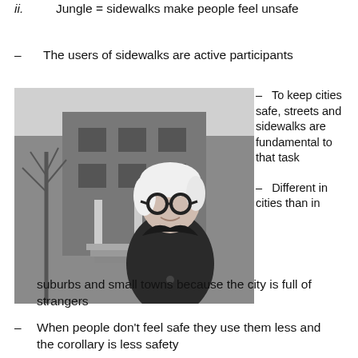ii.   Jungle = sidewalks make people feel unsafe
–   The users of sidewalks are active participants
[Figure (photo): Black and white photo of an older woman with short white hair and round black glasses, wearing a dark coat, standing in front of a multi-story residential building with trees and steps visible in the background.]
–   To keep cities safe, streets and sidewalks are fundamental to that task
–   Different in cities than in suburbs and small towns because the city is full of strangers
–   When people don't feel safe they use them less and the corollary is less safety